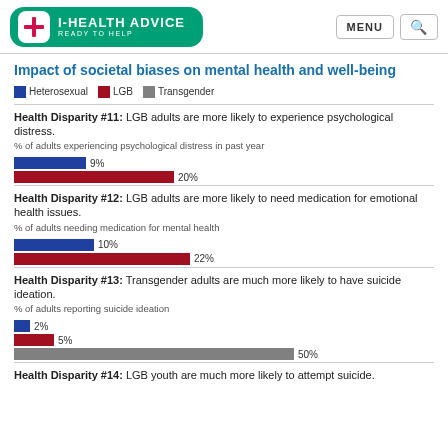I-HEALTH ADVICE — READY TO HELP
Impact of societal biases on mental health and well-being
Legend: Heterosexual, LGB, Transgender
Health Disparity #11: LGB adults are more likely to experience psychological distress.
% of adults experiencing psychological distress in past year
[Figure (bar-chart): % of adults experiencing psychological distress in past year]
Health Disparity #12: LGB adults are more likely to need medication for emotional health issues.
% of adults needing medication for mental health
[Figure (bar-chart): % of adults needing medication for mental health]
Health Disparity #13: Transgender adults are much more likely to have suicide ideation.
% of adults reporting suicide ideation
[Figure (grouped-bar-chart): % of adults reporting suicide ideation]
Health Disparity #14: LGB youth are much more likely to attempt suicide.